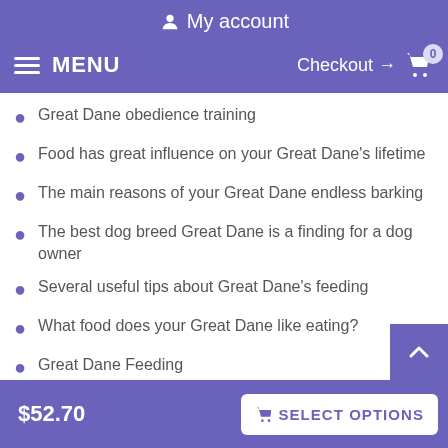My account
MENU  Checkout → 0
Great Dane obedience training
Food has great influence on your Great Dane's lifetime
The main reasons of your Great Dane endless barking
The best dog breed Great Dane is a finding for a dog owner
Several useful tips about Great Dane's feeding
What food does your Great Dane like eating?
Great Dane Feeding
Best dog companion is a comfort for his owner!
Great Dane dog's skin problems
$52.70  SELECT OPTIONS